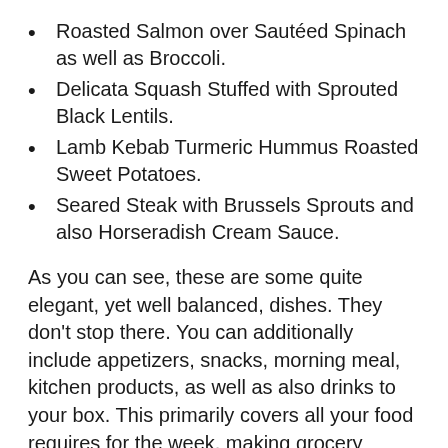Roasted Salmon over Sautéed Spinach as well as Broccoli.
Delicata Squash Stuffed with Sprouted Black Lentils.
Lamb Kebab Turmeric Hummus Roasted Sweet Potatoes.
Seared Steak with Brussels Sprouts and also Horseradish Cream Sauce.
As you can see, these are some quite elegant, yet well balanced, dishes. They don't stop there. You can additionally include appetizers, snacks, morning meal, kitchen products, as well as also drinks to your box. This primarily covers all your food requires for the week, making grocery purchasing and cooking outdated!